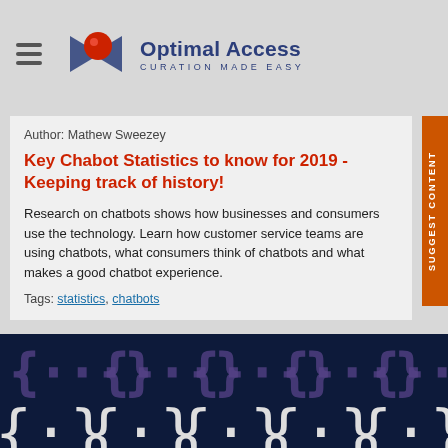[Figure (logo): Optimal Access logo with red sphere and blue arrow shape, brand name 'Optimal Access' and tagline 'CURATION MADE EASY']
Author: Mathew Sweezey
Key Chabot Statistics to know for 2019 - Keeping track of history!
Research on chatbots shows how businesses and consumers use the technology. Learn how customer service teams are using chatbots, what consumers think of chatbots and what makes a good chatbot experience.
Tags: statistics, chatbots
[Figure (illustration): Dark navy background with rows of curly brace chatbot emoji icons in purple, white, and blue colors, representing chatbot theme. Green chat button in lower right corner.]